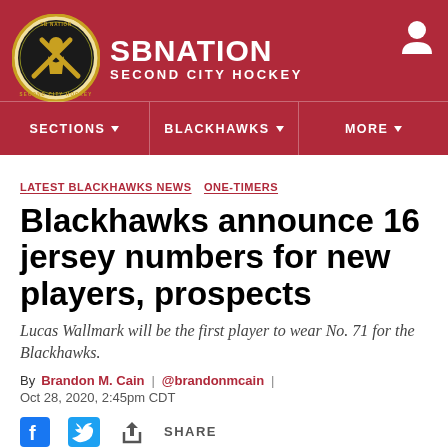SB NATION — SECOND CITY HOCKEY
[Figure (logo): SB Nation Second City Hockey circular logo with hockey player silhouette on dark background]
SECTIONS ▾   BLACKHAWKS ▾   MORE ▾
LATEST BLACKHAWKS NEWS   ONE-TIMERS
Blackhawks announce 16 jersey numbers for new players, prospects
Lucas Wallmark will be the first player to wear No. 71 for the Blackhawks.
By Brandon M. Cain | @brandonmcain | Oct 28, 2020, 2:45pm CDT